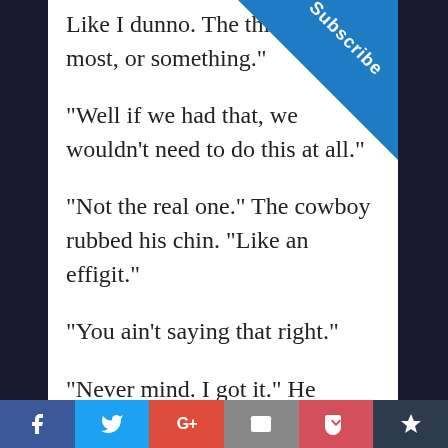Like I dunno. The thing we most, or something."
"Well if we had that, we wouldn't need to do this at all."
"Not the real one." The cowboy rubbed his chin. "Like an effigit."
"You ain't saying that right."
"Never mind. I got it." He fished in h